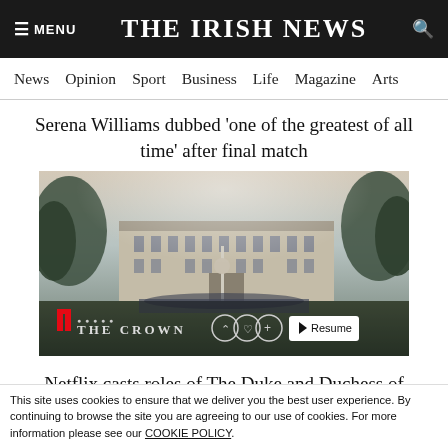≡ MENU   THE IRISH NEWS   🔍
News  Opinion  Sport  Business  Life  Magazine  Arts
Serena Williams dubbed 'one of the greatest of all time' after final match
[Figure (screenshot): Netflix app screenshot showing aerial view of Buckingham Palace with The Crown series title card and Resume button]
Netflix casts roles of The Duke and Duchess of Cambridge in The Crown series six
This site uses cookies to ensure that we deliver you the best user experience. By continuing to browse the site you are agreeing to our use of cookies. For more information please see our COOKIE POLICY.